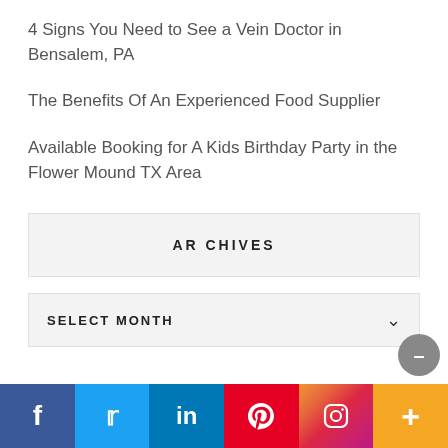4 Signs You Need to See a Vein Doctor in Bensalem, PA
The Benefits Of An Experienced Food Supplier
Available Booking for A Kids Birthday Party in the Flower Mound TX Area
ARCHIVES
SELECT MONTH